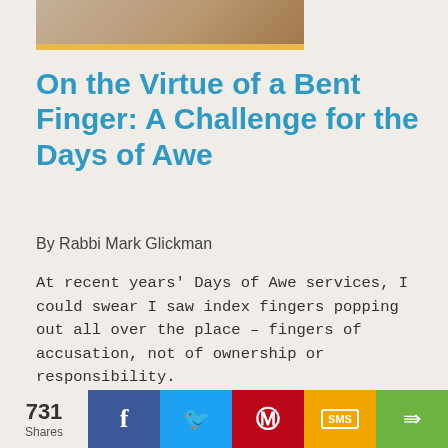[Figure (photo): Partial top image cropped at top of page with a yellow/gold horizontal stripe at bottom]
On the Virtue of a Bent Finger: A Challenge for the Days of Awe
By Rabbi Mark Glickman
At recent years' Days of Awe services, I could swear I saw index fingers popping out all over the place – fingers of accusation, not of ownership or responsibility.
[Figure (photo): Partial bottom image showing a person silhouetted against a colorful sunset sky]
731 Shares  [Facebook] [Twitter] [Pinterest] [SMS] [Share]